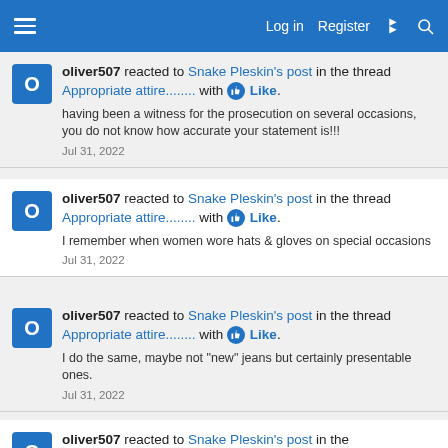Navigation bar with menu, Log in, Register, and icons
oliver507 reacted to Snake Pleskin's post in the thread Appropriate attire........ with Like.
having been a witness for the prosecution on several occasions, you do not know how accurate your statement is!!!
Jul 31, 2022
oliver507 reacted to Snake Pleskin's post in the thread Appropriate attire........ with Like.
I remember when women wore hats & gloves on special occasions
Jul 31, 2022
oliver507 reacted to Snake Pleskin's post in the thread Appropriate attire........ with Like.
I do the same, maybe not "new" jeans but certainly presentable ones.
Jul 31, 2022
oliver507 reacted to Snake Pleskin's post in the